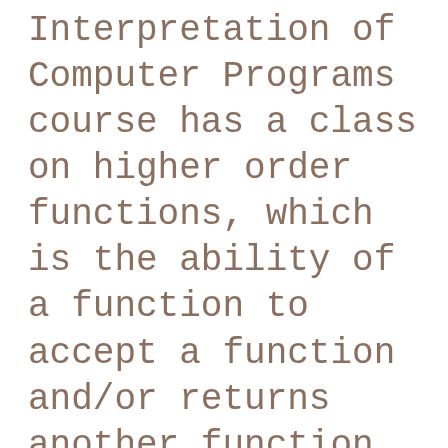Interpretation of Computer Programs course has a class on higher order functions, which is the ability of a function to accept a function and/or returns another function that uses the input function. The C programming language has very limit capability to do this and it is limited to being able to accept function pointers or return function pointers. I wanted to